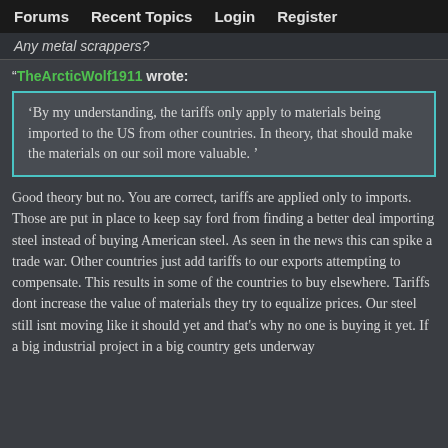Forums   Recent Topics   Login   Register
Any metal scrappers?
“TheArcticWolf1911 wrote:
‘By my understanding, the tariffs only apply to materials being imported to the US from other countries. In theory, that should make the materials on our soil more valuable. ’
Good theory but no. You are correct, tariffs are applied only to imports. Those are put in place to keep say ford from finding a better deal importing steel instead of buying American steel. As seen in the news this can spike a trade war. Other countries just add tariffs to our exports attempting to compensate. This results in some of the countries to buy elsewhere. Tariffs dont increase the value of materials they try to equalize prices. Our steel still isnt moving like it should yet and that's why no one is buying it yet. If a big industrial project in a big country gets underway